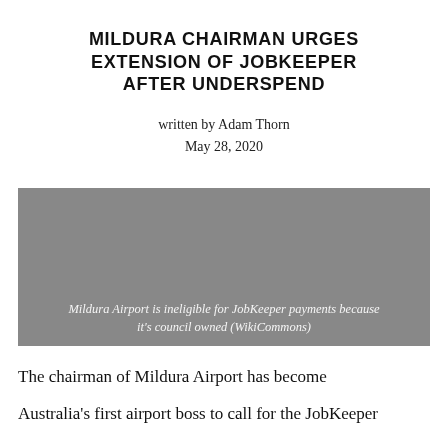MILDURA CHAIRMAN URGES EXTENSION OF JOBKEEPER AFTER UNDERSPEND
written by Adam Thorn
May 28, 2020
[Figure (photo): Gray placeholder image representing Mildura Airport photo]
Mildura Airport is ineligible for JobKeeper payments because it’s council owned (WikiCommons)
The chairman of Mildura Airport has become Australia’s first airport boss to call for the JobKeeper